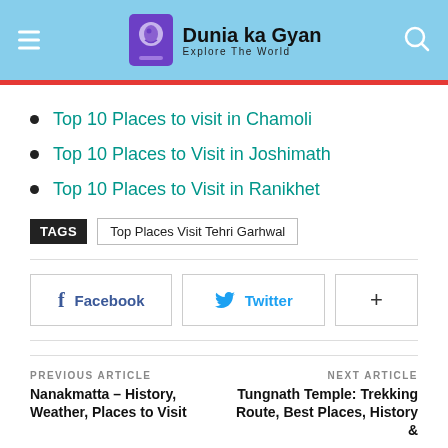Dunia ka Gyan — Explore The World
Top 10 Places to visit in Chamoli
Top 10 Places to Visit in Joshimath
Top 10 Places to Visit in Ranikhet
TAGS: Top Places Visit Tehri Garhwal
Facebook  Twitter  +
PREVIOUS ARTICLE
Nanakmatta – History, Weather, Places to Visit...
NEXT ARTICLE
Tungnath Temple: Trekking Route, Best Places, History &...